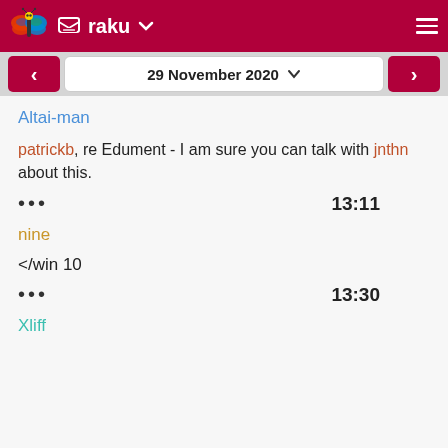raku
29 November 2020
Altai-man
patrickb, re Edument - I am sure you can talk with jnthn about this.
... 13:11
nine
</win 10
... 13:30
Xliff